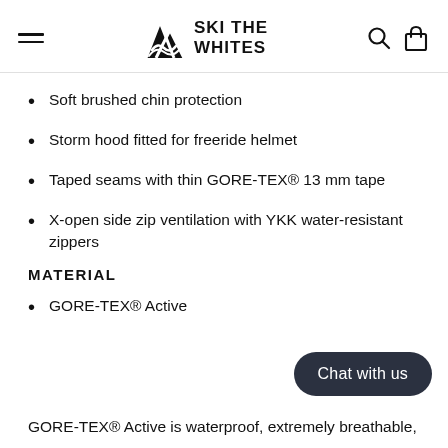SKI THE WHITES
Soft brushed chin protection
Storm hood fitted for freeride helmet
Taped seams with thin GORE-TEX® 13 mm tape
X-open side zip ventilation with YKK water-resistant zippers
MATERIAL
GORE-TEX® Active
Chat with us
GORE-TEX® Active is waterproof, extremely breathable,